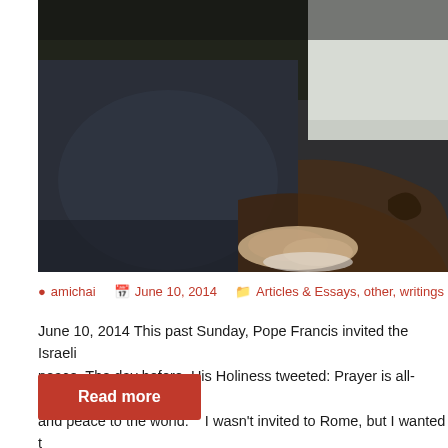[Figure (photo): A close-up photo showing two elderly people seated in ornate wooden chairs. One person wears a dark jacket and the other wears white robes, visible at the right edge. Their clasped hands are visible in the foreground.]
amichai   June 10, 2014   Articles & Essays, other, writings
June 10, 2014 This past Sunday, Pope Francis invited the Israeli and peace. The day before, His Holiness tweeted: Prayer is all-power and peace to the world.    I wasn't invited to Rome, but I wanted t
Read more